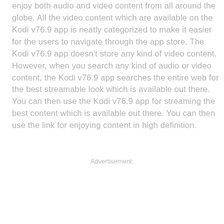enjoy both audio and video content from all around the globe. All the video content which are available on the Kodi v76.9 app is neatly categorized to make it easier for the users to navigate through the app store. The Kodi v76.9 app doesn't store any kind of video content. However, when you search any kind of audio or video content, the Kodi v76.9 app searches the entire web for the best streamable look which is available out there. You can then use the Kodi v76.9 app for streaming the best content which is available out there. You can then use the link for enjoying content in high definition.
Advertisement: